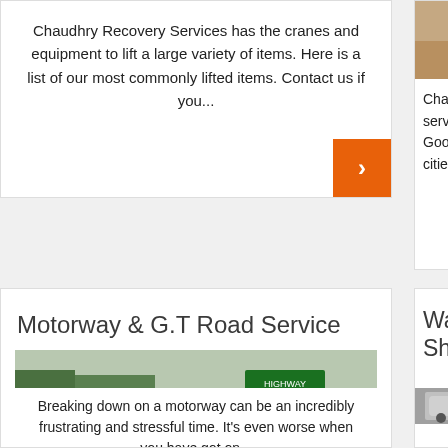Chaudhry Recovery Services has the cranes and equipment to lift a large variety of items. Here is a list of our most commonly lifted items. Contact us if you...
[Figure (other): Orange arrow/chevron button pointing right]
[Figure (photo): Partial photo at top of right card (brown/earthy tones)]
Chaudhr... services is p... Goods tran... cities of Pa...
Motorway & G.T Road Service
[Figure (photo): Police/motorway patrol cars driving on a highway with green highway signs in background]
Breaking down on a motorway can be an incredibly frustrating and stressful time. It's even worse when you have got on...
Waqas Mot... Showroom
[Figure (photo): Cars in a parking lot / showroom, including a silver Toyota pickup truck]
Sale And...